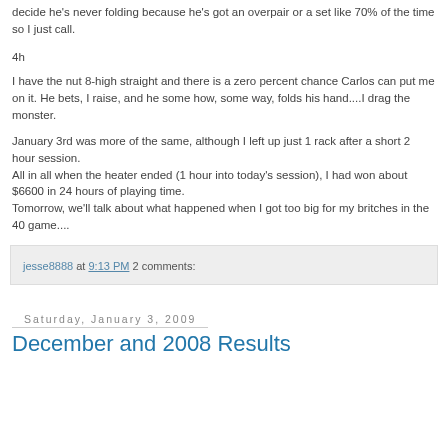decide he's never folding because he's got an overpair or a set like 70% of the time so I just call.
4h
I have the nut 8-high straight and there is a zero percent chance Carlos can put me on it. He bets, I raise, and he some how, some way, folds his hand....I drag the monster.
January 3rd was more of the same, although I left up just 1 rack after a short 2 hour session.
All in all when the heater ended (1 hour into today's session), I had won about $6600 in 24 hours of playing time.
Tomorrow, we'll talk about what happened when I got too big for my britches in the 40 game....
jesse8888 at 9:13 PM    2 comments:
Saturday, January 3, 2009
December and 2008 Results